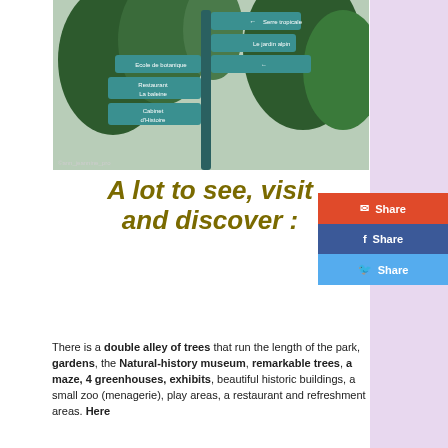[Figure (photo): Directional signpost with multiple teal/turquoise arrow signs pointing in various directions, in front of large green trees. Signs include text such as 'Serre tropicale', 'Le jardin alpin', 'Ecole de botanique', 'Restaurant La baleine', 'Cabinet d'Histoire'.]
A lot to see, visit and discover :
There is a double alley of trees that run the length of the park, gardens, the Natural-history museum, remarkable trees, a maze, 4 greenhouses, exhibits, beautiful historic buildings, a small zoo (menagerie), play areas, a restaurant and refreshment areas. Here